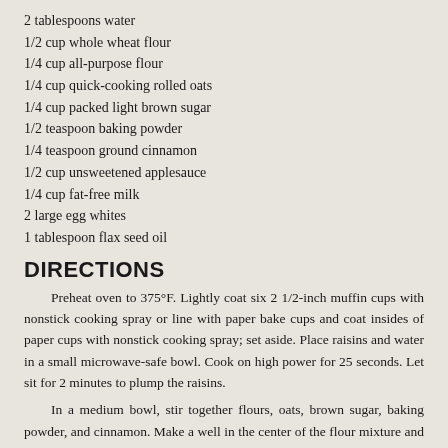2 tablespoons water
1/2 cup whole wheat flour
1/4 cup all-purpose flour
1/4 cup quick-cooking rolled oats
1/4 cup packed light brown sugar
1/2 teaspoon baking powder
1/4 teaspoon ground cinnamon
1/2 cup unsweetened applesauce
1/4 cup fat-free milk
2 large egg whites
1 tablespoon flax seed oil
DIRECTIONS
Preheat oven to 375°F. Lightly coat six 2 1/2-inch muffin cups with nonstick cooking spray or line with paper bake cups and coat insides of paper cups with nonstick cooking spray; set aside. Place raisins and water in a small microwave-safe bowl. Cook on high power for 25 seconds. Let sit for 2 minutes to plump the raisins.
In a medium bowl, stir together flours, oats, brown sugar, baking powder, and cinnamon. Make a well in the center of the flour mixture and set aside. Combine applesauce, milk, egg whites, flax seed oil, and raisins. Add to flour mixture; stir just until incorporated. Don't over mix. Spoon batter into prepared muffin cups filling each about three-fourths full. Bake for 20 to